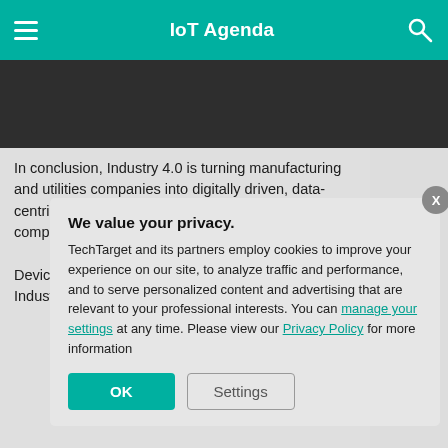IoT Agenda
[Figure (other): Dark banner/advertisement area below header]
In conclusion, Industry 4.0 is turning manufacturing and utilities companies into digitally driven, data-centric powerhouses tha... constant mining ... and competitive. ... however, recogr... realize the full po...
Device manufac... adhere to indust... customers need ... Industry 4.0 aga... practices. Indust... starting with loca...
We value your privacy. TechTarget and its partners employ cookies to improve your experience on our site, to analyze traffic and performance, and to serve personalized content and advertising that are relevant to your professional interests. You can manage your settings at any time. Please view our Privacy Policy for more information